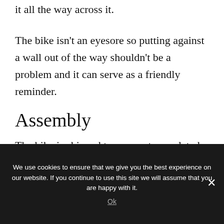it all the way across it.
The bike isn’t an eyesore so putting against a wall out of the way shouldn’t be a problem and it can serve as a friendly reminder.
Assembly
The bike is shipped to you part completed so there is some assembly required. It normally takes about 1 hour to 2 hours to complete...
We use cookies to ensure that we give you the best experience on our website. If you continue to use this site we will assume that you are happy with it.
Ok